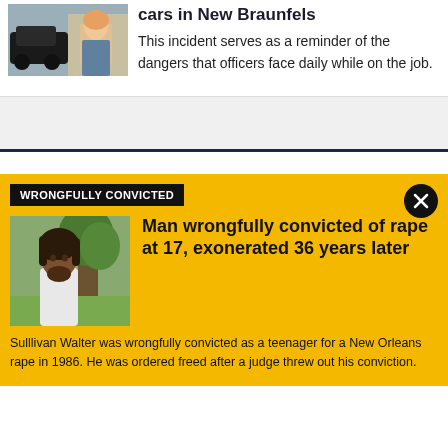[Figure (photo): Thumbnail showing a crashed vehicle and a woman newscaster]
cars in New Braunfels
This incident serves as a reminder of the dangers that officers face daily while on the job.
WRONGFULLY CONVICTED
[Figure (photo): Portrait photo of a man with dreadlocks wearing a white shirt, standing outdoors near a tree]
Man wrongfully convicted of rape at 17, exonerated 36 years later
Sulllivan Walter was wrongfully convicted as a teenager for a New Orleans rape in 1986. He was ordered freed after a judge threw out his conviction.